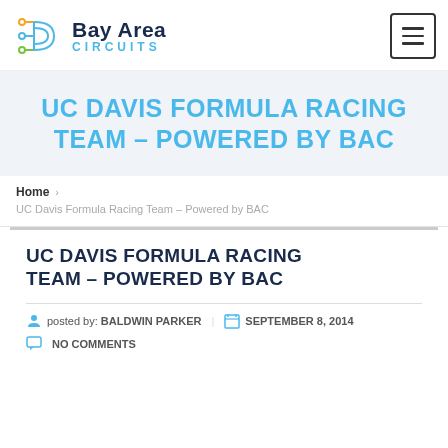Bay Area Circuits
UC DAVIS FORMULA RACING TEAM – POWERED BY BAC
Home > UC Davis Formula Racing Team – Powered by BAC
UC DAVIS FORMULA RACING TEAM – POWERED BY BAC
posted by: BALDWIN PARKER   SEPTEMBER 8, 2014   NO COMMENTS